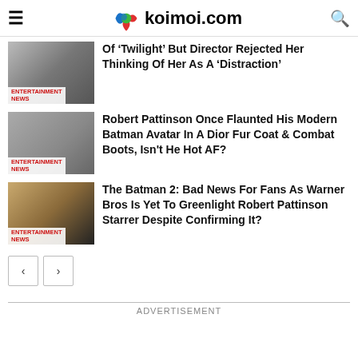koimoi.com
Of ‘Twilight’ But Director Rejected Her Thinking Of Her As A ‘Distraction’
Robert Pattinson Once Flaunted His Modern Batman Avatar In A Dior Fur Coat & Combat Boots, Isn't He Hot AF?
The Batman 2: Bad News For Fans As Warner Bros Is Yet To Greenlight Robert Pattinson Starrer Despite Confirming It?
ADVERTISEMENT